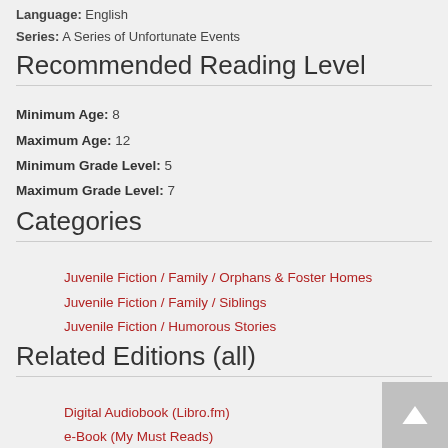Language: English
Series: A Series of Unfortunate Events
Recommended Reading Level
Minimum Age: 8
Maximum Age: 12
Minimum Grade Level: 5
Maximum Grade Level: 7
Categories
Juvenile Fiction / Family / Orphans & Foster Homes
Juvenile Fiction / Family / Siblings
Juvenile Fiction / Humorous Stories
Related Editions (all)
Digital Audiobook (Libro.fm)
e-Book (My Must Reads)